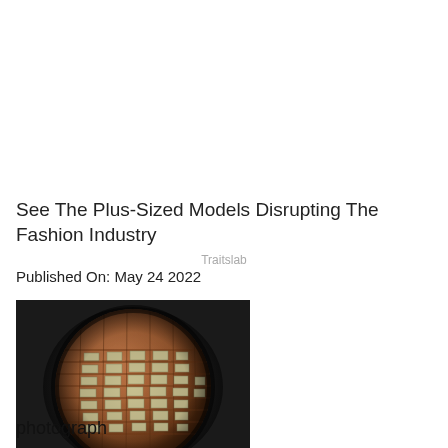See The Plus-Sized Models Disrupting The Fashion Industry
Traitslab
Published On: May 24 2022
[Figure (photo): A sphere-shaped architectural 3D render showing a building with brick facade and windows arranged in a globe shape, against a dark background.]
photograph